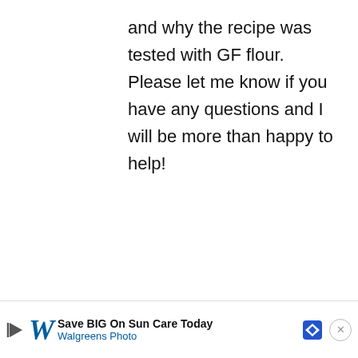and why the recipe was tested with GF flour. Please let me know if you have any questions and I will be more than happy to help!

Best,

Melissa
Reply
290
[Figure (other): Heart (like) button circle with heart icon]
[Figure (other): Search button circle with magnifying glass icon (salmon/red color)]
Save BIG On Sun Care Today Walgreens Photo